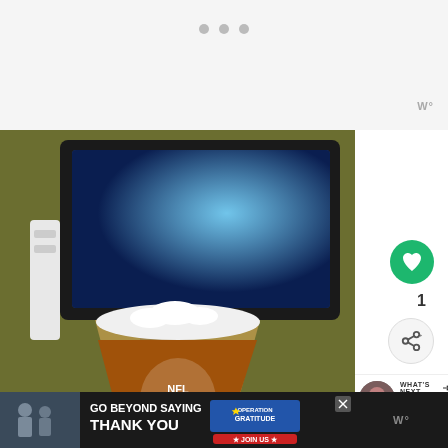[Figure (screenshot): Website top bar with three gray dots (loading indicator) and Wattpad logo top right]
[Figure (photo): Photo of a beer glass with NFL Patriots logo in foreground, TV with blue screen in background, Wii console visible on the left]
[Figure (infographic): Green heart/like button with count of 1 below it, and a share button below that on the right sidebar]
WHAT'S NEXT → Newsletter Signup
[Figure (screenshot): Advertisement banner: GO BEYOND SAYING THANK YOU — OPERATION GRATITUDE — JOIN US, dark background with close X button]